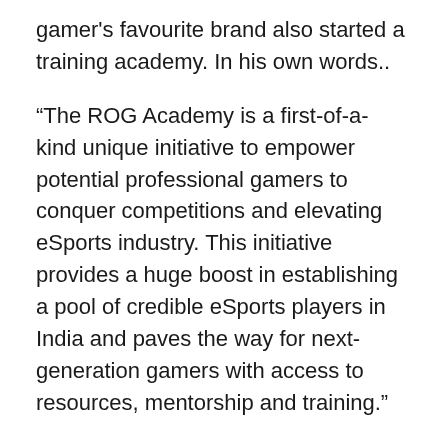gamer's favourite brand also started a training academy. In his own words..
“The ROG Academy is a first-of-a- kind unique initiative to empower potential professional gamers to conquer competitions and elevating eSports industry. This initiative provides a huge boost in establishing a pool of credible eSports players in India and paves the way for next-generation gamers with access to resources, mentorship and training.”
We had written about ROG academy when it began its inaugural edition to train CS:GO players in the country. It’s now back in its second edition, this time for Valorant players. There’s also Global eSports, an organization that incubates and sponsors eSports teams in various